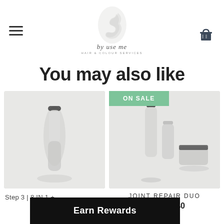[Figure (logo): By Use Me hair and colour services logo with stylized 3 shape icon and script text]
You may also like
[Figure (photo): Blurred product photo of a single white bottle with black cap on white background]
Step 3 | 8 IN 1 +
[Figure (photo): Blurred product photo of two white bottles and a jar on white background, labeled ON SALE]
JOINT REPAIR DUO
8.00 $54.40
Earn Rewards